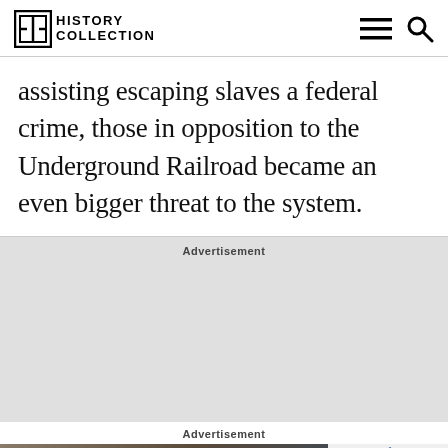HISTORY COLLECTION
assisting escaping slaves a federal crime, those in opposition to the Underground Railroad became an even bigger threat to the system.
[Figure (other): Advertisement placeholder block (grey rectangle)]
Advertisement
Advertisement
[Figure (photo): Subaru advertisement banner showing car interior with text 'Stretch out in the front...' and Subaru logo with Explore button]